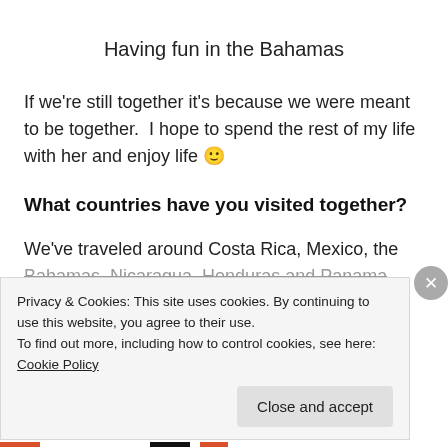Having fun in the Bahamas
If we're still together it's because we were meant to be together.  I hope to spend the rest of my life with her and enjoy life 🙂
What countries have you visited together?
We've traveled around Costa Rica, Mexico, the Bahamas, Nicaragua, Honduras and Panama
Privacy & Cookies: This site uses cookies. By continuing to use this website, you agree to their use.
To find out more, including how to control cookies, see here: Cookie Policy
Close and accept